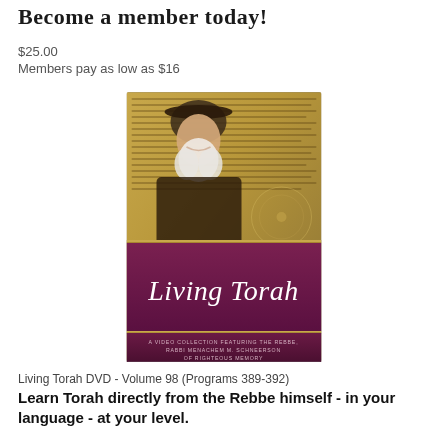Become a member today!
$25.00
Members pay as low as $16
[Figure (photo): Living Torah DVD cover - Volume 98 (Programs 389-392). Shows an elderly rabbi with a white beard and dark hat, smiling. Background has Hebrew text manuscript. Bottom half has a dark purple/maroon band with 'Living Torah' in white serif italic font. Subtitle reads: 'A video collection featuring the Rebbe, Rabbi Menachem M. Schneerson of righteous memory'.]
Living Torah DVD - Volume 98 (Programs 389-392)
Learn Torah directly from the Rebbe himself - in your language - at your level.